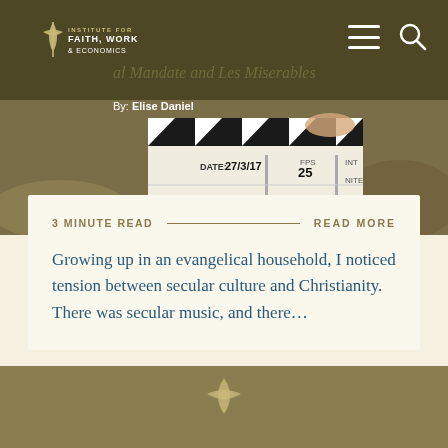Institute for Faith, Work & Economics
[Figure (photo): Movie clapperboard held up showing date 27/3/19, FPS 25, INT, NITE]
Cultural Mandate and Les Miserables
By: Elise Daniel
3 minute read  READ MORE
Growing up in an evangelical household, I noticed tension between secular culture and Christianity. There was secular music, and there…
Institute for Faith, Work & Economics footer logo